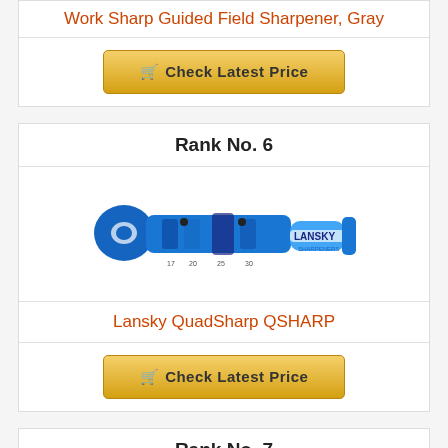Work Sharp Guided Field Sharpener, Gray
Check Latest Price
Rank No. 6
[Figure (photo): Blue Lansky QuadSharp QSHARP knife sharpener tool with multiple sharpening slots and angle guides, branded 17, 20, 25, 30 degree angles]
Lansky QuadSharp QSHARP
Check Latest Price
Rank No. 7